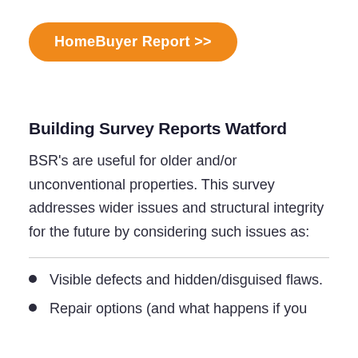[Figure (other): Orange rounded button with white text reading 'HomeBuyer Report >>']
Building Survey Reports Watford
BSR's are useful for older and/or unconventional properties. This survey addresses wider issues and structural integrity for the future by considering such issues as:
Visible defects and hidden/disguised flaws.
Repair options (and what happens if you